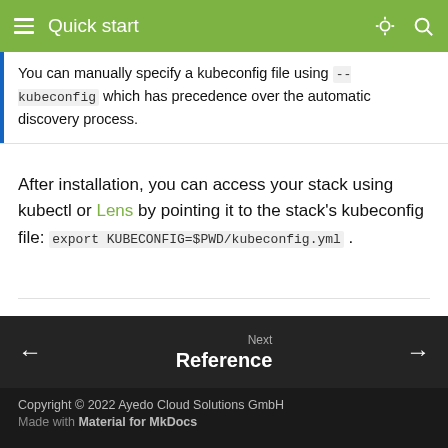Quick start
You can manually specify a kubeconfig file using --kubeconfig which has precedence over the automatic discovery process.
After installation, you can access your stack using kubectl or Lens by pointing it to the stack's kubeconfig file: export KUBECONFIG=$PWD/kubeconfig.yml .
Last update: May 20, 2022
Next Reference →
Copyright © 2022 Ayedo Cloud Solutions GmbH
Made with Material for MkDocs